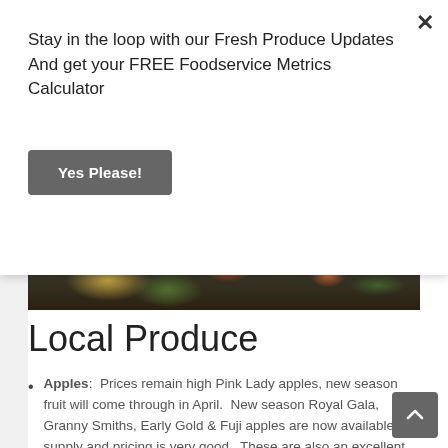Stay in the loop with our Fresh Produce Updates And get your FREE Foodservice Metrics Calculator
Yes Please!
[Figure (photo): Photo of fresh vegetables including green beans, carrots, and other produce on a dark background]
Local Produce
Apples:  Prices remain high Pink Lady apples, new season fruit will come through in April.  New season Royal Gala, Granny Smiths, Early Gold & Fuji apples are now available, supply and pricing is very good.  These are also an excellent option for juicing due to price.
Avocados:  The local Hass season is drawing to an